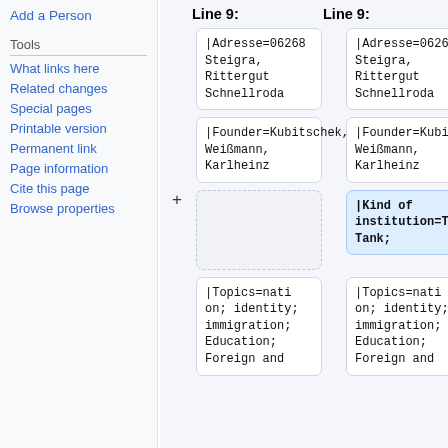Add a Person
Tools
What links here
Related changes
Special pages
Printable version
Permanent link
Page information
Cite this page
Browse properties
Line 9:
Line 9:
|Adresse=06268 Steigra, Rittergut Schnellroda
|Adresse=06268 Steigra, Rittergut Schnellroda
|Founder=Kubitschek,Götz; Weißmann, Karlheinz
|Founder=Kubitschek,Götz; Weißmann, Karlheinz
|Kind of institution=Think Tank;
|Topics=nation; identity; immigration; Education; Foreign and
|Topics=nation; identity; immigration; Education; Foreign and